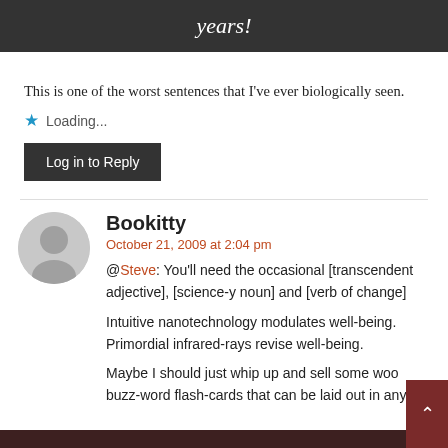[Figure (other): Dark banner with italic text 'years!']
This is one of the worst sentences that I've ever biologically seen.
Loading...
Log in to Reply
Bookitty
October 21, 2009 at 2:04 pm
@Steve: You'll need the occasional [transcendent adjective], [science-y noun] and [verb of change]
Intuitive nanotechnology modulates well-being. Primordial infrared-rays revise well-being.
Maybe I should just whip up and sell some woo buzz-word flash-cards that can be laid out in any